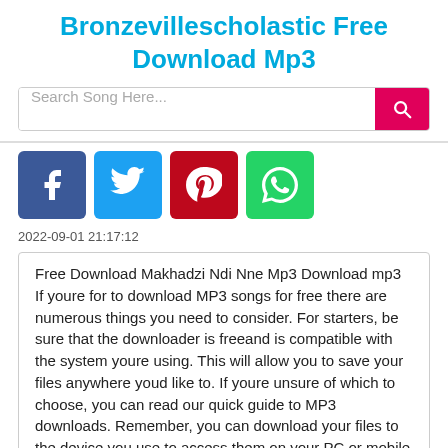Bronzevillescholastic Free Download Mp3
[Figure (screenshot): Search bar with placeholder 'Search Song Here...' and a pink/red search button with magnifying glass icon]
[Figure (infographic): Social media share buttons: Facebook (blue), Twitter (light blue), Pinterest (red), WhatsApp (green)]
2022-09-01 21:17:12
Free Download Makhadzi Ndi Nne Mp3 Download mp3 If youre for to download MP3 songs for free there are numerous things you need to consider. For starters, be sure that the downloader is freeand is compatible with the system youre using. This will allow you to save your files anywhere youd like to. If youre unsure of which to choose, you can read our quick guide to MP3 downloads. Remember, you can download your files to the device you use to access them on your PC or mobile phone.